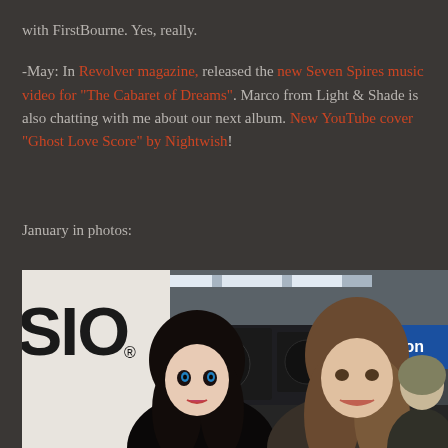-May: In Revolver magazine, released the new Seven Spires music video for "The Cabaret of Dreams". Marco from Light & Shade is also chatting with me about our next album. New YouTube cover "Ghost Love Score" by Nightwish!
January in photos:
[Figure (photo): Two people posing for a photo at what appears to be a music trade show or exhibition. On the left is a woman with long dark hair and pale skin, wearing dark clothing. On the right is a man with long brown hair. Behind them are visible signs including a Casio banner on the left and a PreSonus sign on the right. The ceiling has visible lighting equipment.]